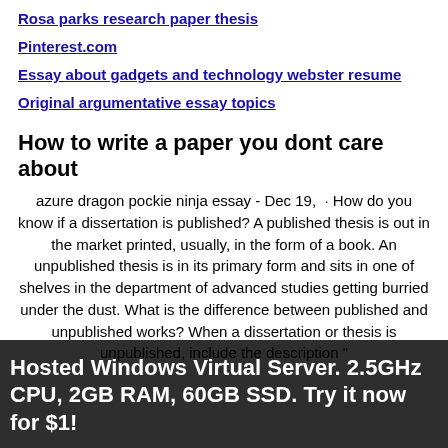Rosa parks research paper thesis
Pinterest.com
Essay about gadgets and technology webster resume
Original argumentative essay topics
How to write a paper you dont care about
azure dragon pockie ninja essay - Dec 19, · How do you know if a dissertation is published? A published thesis is out in the market printed, usually, in the form of a book. An unpublished thesis is in its primary form and sits in one of shelves in the department of advanced studies getting burried under the dust. What is the difference between published and unpublished works? When a dissertation or thesis is unpublished, include the description "...dissertation or thesis title. In the source element of the reference, provide the name of the
Hosted Windows Virtual Server. 2.5GHz CPU, 2GB RAM, 60GB SSD. Try it now for $1!